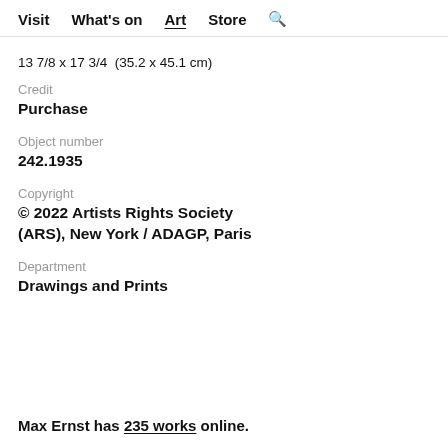Visit  What's on  Art  Store  🔍
13 7/8 x 17 3/4  (35.2 x 45.1 cm)
Credit
Purchase
Object number
242.1935
Copyright
© 2022 Artists Rights Society (ARS), New York / ADAGP, Paris
Department
Drawings and Prints
Max Ernst has 235 works online.